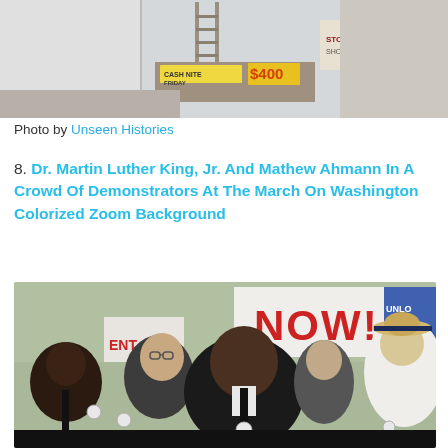[Figure (photo): Top portion of a historical street scene photograph, partially cropped, showing a building exterior with a sign reading 'CASH NITE FRIDAY $400']
Photo by Unseen Histories
8. Dr. Martin Luther King, Jr. And Mathew Ahmann In A Crowd Of Demonstrators At The March On Washington Colorized Zoom Background
[Figure (photo): Colorized historical photograph of Dr. Martin Luther King Jr. and Mathew Ahmann among a crowd of demonstrators at the March on Washington. Several people are visible wearing suits and campaign buttons; signs in the background read NOW! and partial text visible. A man in a straw hat is visible at the right.]